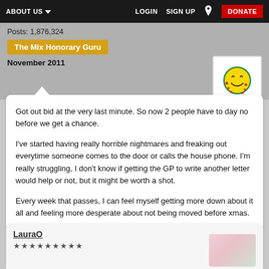ABOUT US  LOGIN  SIGN UP  DONATE
Posts: 1,876,324
The Mix Honorary Guru
November 2011
Got out bid at the very last minute. So now 2 people have to day no before we get a chance.

I've started having really horrible nightmares and freaking out everytime someone comes to the door or calls the house phone. I'm really struggling, I don't know if getting the GP to write another letter would help or not, but it might be worth a shot.

Every week that passes, I can feel myself getting more down about it all and feeling more desperate about not being moved before xmas.
LauraO
★★★★★★★★★